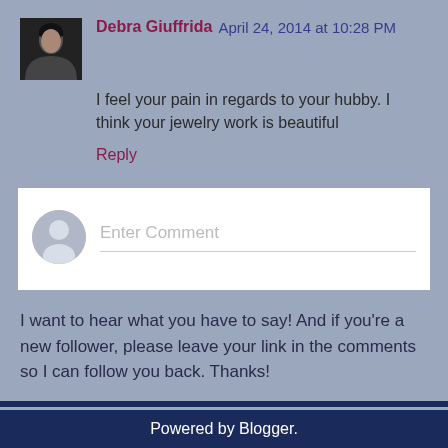Debra Giuffrida  April 24, 2014 at 10:28 PM
I feel your pain in regards to your hubby. I think your jewelry work is beautiful
Reply
Enter Comment
I want to hear what you have to say! And if you're a new follower, please leave your link in the comments so I can follow you back. Thanks!
Home
View web version
Powered by Blogger.